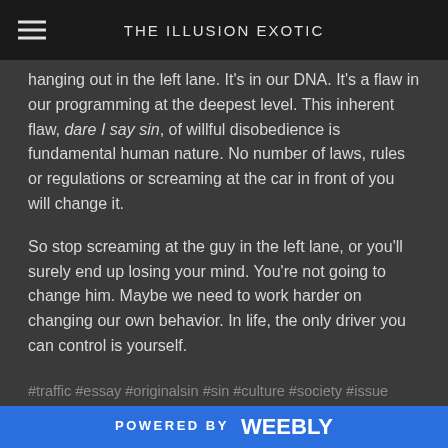THE ILLUSION EXOTIC
hanging out in the left lane. It's in our DNA. It's a flaw in our programming at the deepest level. This inherent flaw, dare I say sin, of willful disobedience is fundamental human nature. No number of laws, rules or regulations or screaming at the car in front of you will change it.
So stop screaming at the guy in the left lane, or you'll surely end up losing your mind. You're not going to change him. Maybe we need to work harder on changing our own behavior. In life, the only driver you can control is yourself.
#traffic #essay #originalsin #sin #culture #society #issue #faith #religion
***
If you enjoyed this blog, please like the post and leave a comment or if you're feeling brave, share it on social media. This
POWERED BY weebly